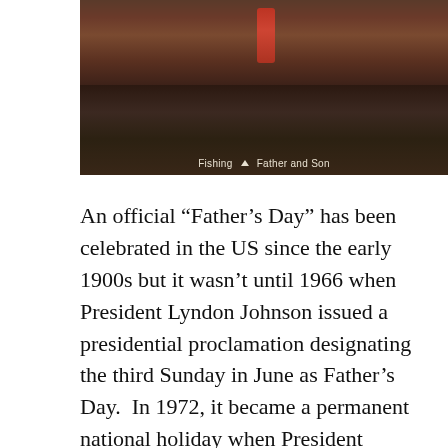[Figure (photo): Photo of people fishing, showing water and a red fishing rod/float. Caption reads: Fishing ▲ Father and Son]
Fishing ▲ Father and Son
An official “Father’s Day” has been celebrated in the US since the early 1900s but it wasn’t until 1966 when President Lyndon Johnson issued a presidential proclamation designating the third Sunday in June as Father’s Day.  In 1972, it became a permanent national holiday when President Richard Nixon signed the proclamation into law.
This year, Father’s Day falls on Sunday, June 16, and Dads around the country will receive plenty of ties, golf balls, and pasta artwork to